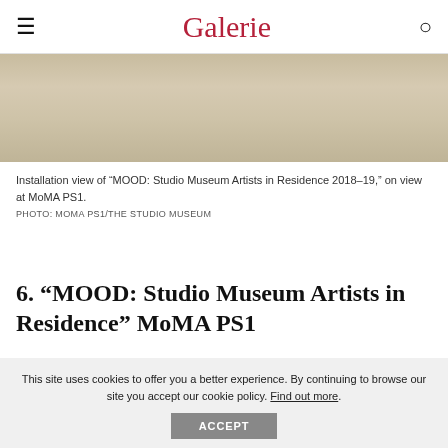Galerie
[Figure (photo): Installation view of MOOD: Studio Museum Artists in Residence 2018-19, showing a light stone or marble floor surface]
Installation view of “MOOD: Studio Museum Artists in Residence 2018–19,” on view at MoMA PS1.
PHOTO: MOMA PS1/THE STUDIO MUSEUM
6. “MOOD: Studio Museum Artists in Residence” MoMA PS1
This site uses cookies to offer you a better experience. By continuing to browse our site you accept our cookie policy. Find out more.
Museum’s 2018–19 residents Allison Janae